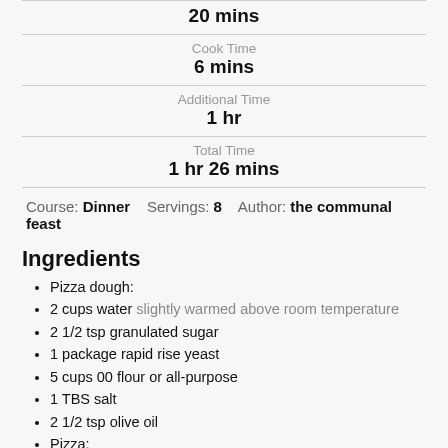20 mins
Cook Time
6 mins
Additional Time
1 hr
Total Time
1 hr 26 mins
Course: Dinner    Servings: 8    Author: the communal feast
Ingredients
Pizza dough:
2 cups water slightly warmed above room temperature
2 1/2 tsp granulated sugar
1 package rapid rise yeast
5 cups 00 flour or all-purpose
1 TBS salt
2 1/2 tsp olive oil
Pizza:
1 28 oz can crushed tomatoes